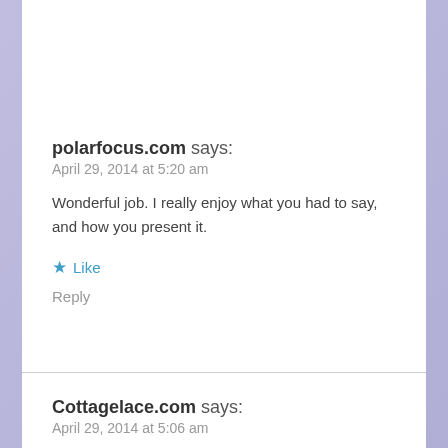polarfocus.com says:
April 29, 2014 at 5:20 am
Wonderful job. I really enjoy what you had to say, and how you present it.
★ Like
Reply
Cottagelace.com says:
April 29, 2014 at 5:06 am
Yoou need to take part in a contest for one of the highest quality blogs on